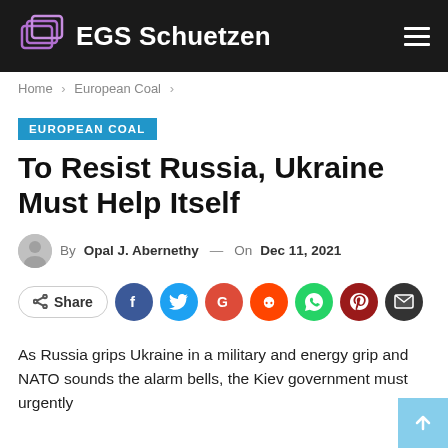EGS Schuetzen
Home > European Coal >
EUROPEAN COAL
To Resist Russia, Ukraine Must Help Itself
By Opal J. Abernethy — On Dec 11, 2021
Share
As Russia grips Ukraine in a military and energy grip and NATO sounds the alarm bells, the Kiev government must urgently